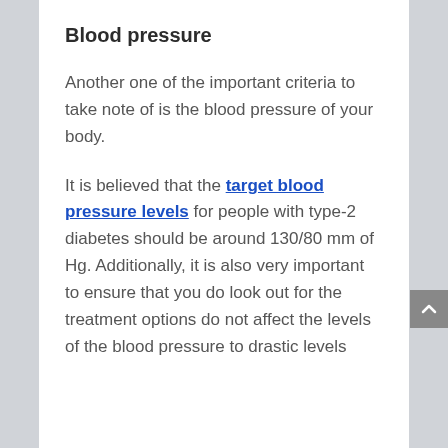Blood pressure
Another one of the important criteria to take note of is the blood pressure of your body.
It is believed that the target blood pressure levels for people with type-2 diabetes should be around 130/80 mm of Hg. Additionally, it is also very important to ensure that you do look out for the treatment options do not affect the levels of the blood pressure to drastic levels